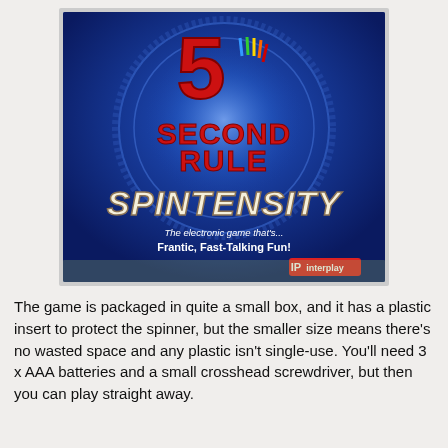[Figure (photo): Photo of the board game '5 Second Rule Spintensity' box. The box has a blue background with a large red number '5', the words 'Second Rule' in red bold text, 'Spintensity' in large cream/white stylized text, and a tagline 'The electronic game that's... Frantic, Fast-Talking Fun!' The Interplay logo appears at the bottom right.]
The game is packaged in quite a small box, and it has a plastic insert to protect the spinner, but the smaller size means there's no wasted space and any plastic isn't single-use. You'll need 3 x AAA batteries and a small crosshead screwdriver, but then you can play straight away.